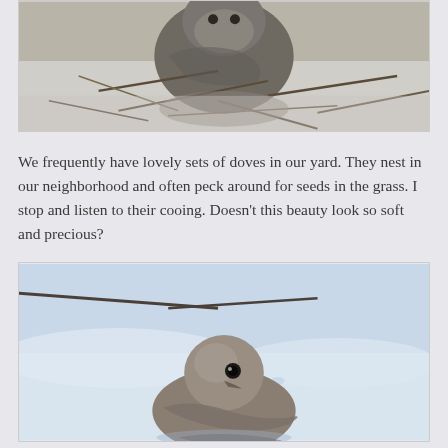[Figure (photo): Close-up photograph of a dove bird seen from above, surrounded by dry twigs and branches on a snowy surface. The bird's feathers show detailed texture.]
We frequently have lovely sets of doves in our yard. They nest in our neighborhood and often peck around for seeds in the grass. I stop and listen to their cooing. Doesn't this beauty look so soft and precious?
[Figure (photo): Photograph of a mourning dove standing on snowy ground, viewed from slightly above. The bird faces forward with a round head and soft brown-grey plumage. Snow and footprints visible in the background.]